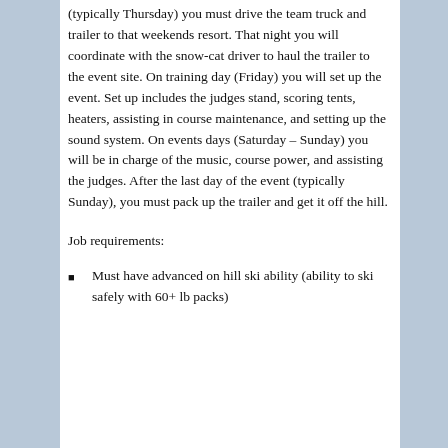(typically Thursday) you must drive the team truck and trailer to that weekends resort. That night you will coordinate with the snow-cat driver to haul the trailer to the event site. On training day (Friday) you will set up the event. Set up includes the judges stand, scoring tents, heaters, assisting in course maintenance, and setting up the sound system. On events days (Saturday – Sunday) you will be in charge of the music, course power, and assisting the judges. After the last day of the event (typically Sunday), you must pack up the trailer and get it off the hill.
Job requirements:
Must have advanced on hill ski ability (ability to ski safely with 60+ lb packs)